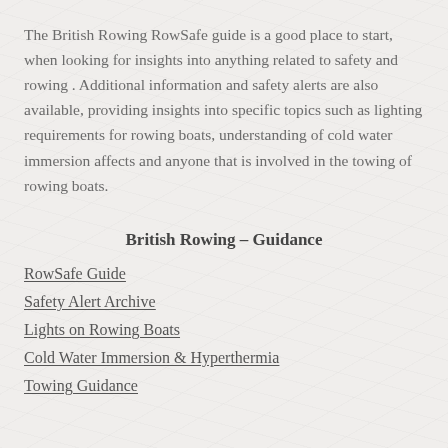The British Rowing RowSafe guide is a good place to start, when looking for insights into anything related to safety and rowing . Additional information and safety alerts are also available, providing insights into specific topics such as lighting requirements for rowing boats, understanding of cold water immersion affects and anyone that is involved in the towing of rowing boats.
British Rowing – Guidance
RowSafe Guide
Safety Alert Archive
Lights on Rowing Boats
Cold Water Immersion & Hyperthermia
Towing Guidance